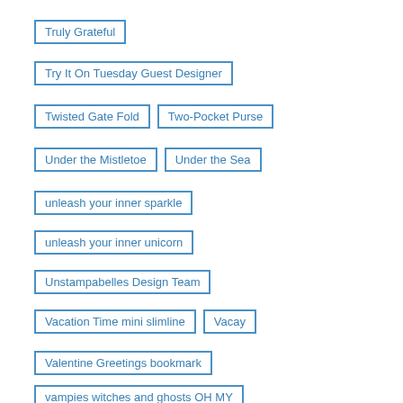Truly Grateful
Try It On Tuesday Guest Designer
Twisted Gate Fold
Two-Pocket Purse
Under the Mistletoe
Under the Sea
unleash your inner sparkle
unleash your inner unicorn
Unstampabelles Design Team
Vacation Time mini slimline
Vacay
Valentine Greetings bookmark
vampies witches and ghosts OH MY
Vase of Flowers Gift Card Holder